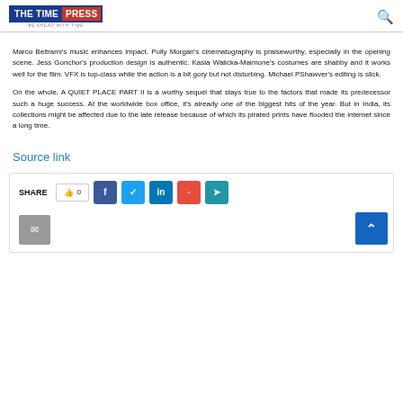THE TIME PRESS — BE AHEAD WITH TIME
Marco Beltrami's music enhances impact. Polly Morgan's cinematography is praiseworthy, especially in the opening scene. Jess Gonchor's production design is authentic. Kasia Walicka-Maimone's costumes are shabby and it works well for the film. VFX is top-class while the action is a bit gory but not disturbing. Michael PShawver's editing is slick.
On the whole, A QUIET PLACE PART II is a worthy sequel that stays true to the factors that made its predecessor such a huge success. At the worldwide box office, it's already one of the biggest hits of the year. But in India, its collections might be affected due to the late release because of which its pirated prints have flooded the internet since a long time.
Source link